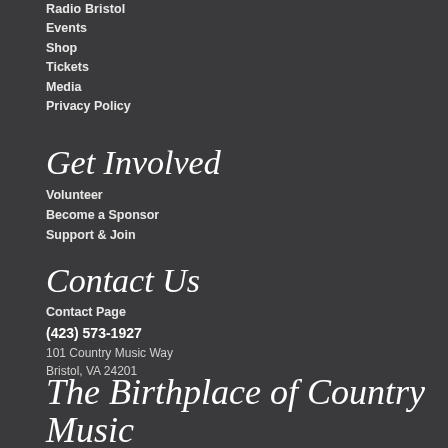Radio Bristol
Events
Shop
Tickets
Media
Privacy Policy
Get Involved
Volunteer
Become a Sponsor
Support & Join
Contact Us
Contact Page
(423) 573-1927
101 Country Music Way
Bristol, VA 24201
The Birthplace of Country Music
Get updates on all Birthplace of Country Music programming and concert announcements from the Birthplace of Country Music Museum, Bristol Rhythm & Roots Reunion, and Radio Bristol.